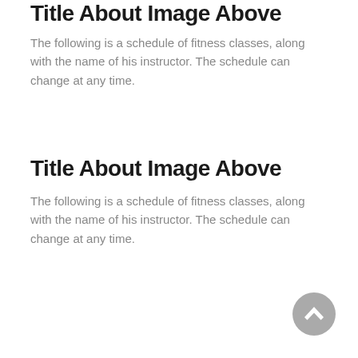Title About Image Above
The following is a schedule of fitness classes, along with the name of his instructor. The schedule can change at any time.
Title About Image Above
The following is a schedule of fitness classes, along with the name of his instructor. The schedule can change at any time.
[Figure (other): Back-to-top scroll button: circular grey button with white upward chevron arrow]